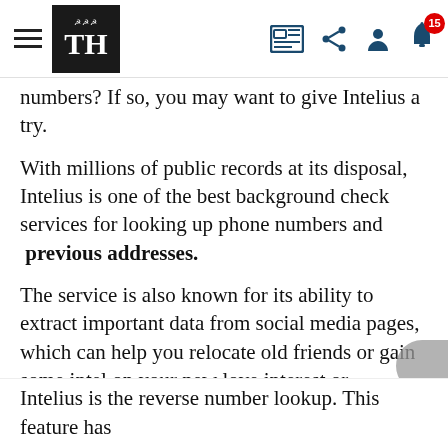TH — The Hindu (navigation header with logo, hamburger menu, and icons)
numbers? If so, you may want to give Intelius a try.
With millions of public records at its disposal, Intelius is one of the best background check services for looking up phone numbers and previous addresses.
The service is also known for its ability to extract important data from social media pages, which can help you relocate old friends or gain some intel on your new love interest or neighbor.
Intelius Services Offered 4.8/5
Like TruthFinder, Intelius offers everything from criminal records search, location history, and much
Intelius is the reverse number lookup. This feature has